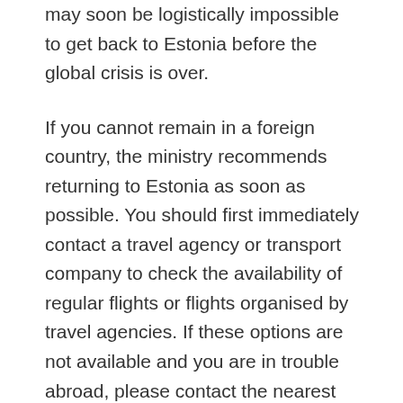may soon be logistically impossible to get back to Estonia before the global crisis is over.
If you cannot remain in a foreign country, the ministry recommends returning to Estonia as soon as possible. You should first immediately contact a travel agency or transport company to check the availability of regular flights or flights organised by travel agencies. If these options are not available and you are in trouble abroad, please contact the nearest Estonian embassy or call the foreign ministry at +372 5301 9999.
If you are currently abroad and you are able to safely remain in another country for the duration of the crisis, there is no need for you to return to Estonia. However,